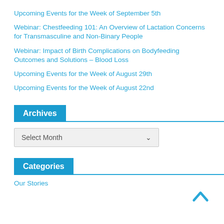Upcoming Events for the Week of September 5th
Webinar: Chestfeeding 101: An Overview of Lactation Concerns for Transmasculine and Non-Binary People
Webinar: Impact of Birth Complications on Bodyfeeding Outcomes and Solutions – Blood Loss
Upcoming Events for the Week of August 29th
Upcoming Events for the Week of August 22nd
Archives
Select Month
Categories
Our Stories